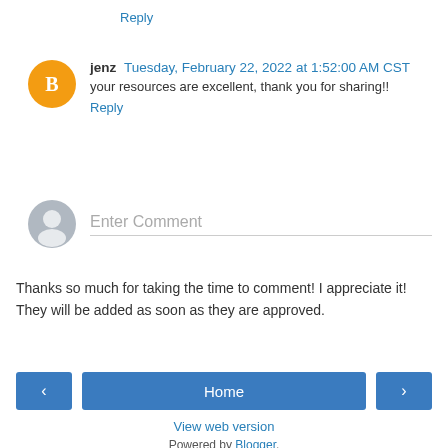Reply
jenz  Tuesday, February 22, 2022 at 1:52:00 AM CST
your resources are excellent, thank you for sharing!!
Reply
Enter Comment
Thanks so much for taking the time to comment! I appreciate it! They will be added as soon as they are approved.
Home
View web version
Powered by Blogger.